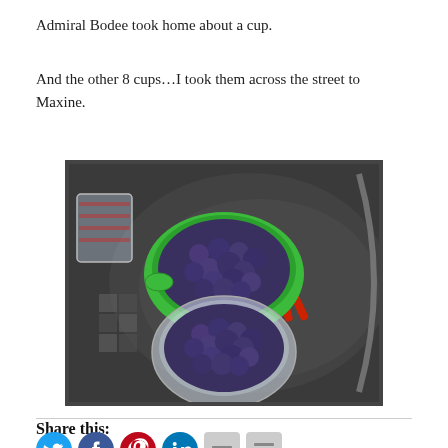Admiral Bodee took home about a cup.
And the other 8 cups…I took them across the street to Maxine.
[Figure (photo): Overhead photo of two bowls of blueberries on a glass patio table. A green colander bowl on top and a clear plastic bowl below, both filled with dark blueberries. A glass measuring cup and red scissors are also visible.]
Share this:
[Figure (other): Row of social sharing icon buttons: Twitter (teal), Facebook (blue), Pinterest (red), LinkedIn (blue), and two grey icon buttons.]